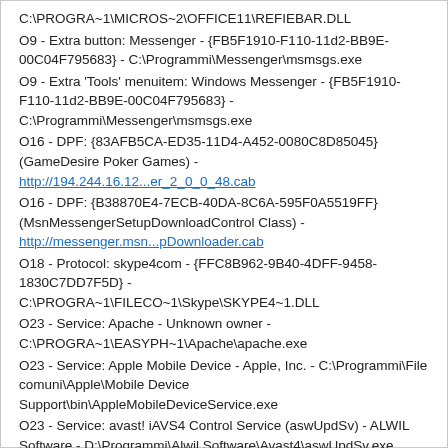C:\PROGRA~1\MICROS~2\OFFICE11\REFIEBAR.DLL
O9 - Extra button: Messenger - {FB5F1910-F110-11d2-BB9E-00C04F795683} - C:\Programmi\Messenger\msmsgs.exe
O9 - Extra 'Tools' menuitem: Windows Messenger - {FB5F1910-F110-11d2-BB9E-00C04F795683} - C:\Programmi\Messenger\msmsgs.exe
O16 - DPF: {83AFB5CA-ED35-11D4-A452-0080C8D85045} (GameDesire Poker Games) - http://194.244.16.12...er_2_0_0_48.cab
O16 - DPF: {B38870E4-7ECB-40DA-8C6A-595F0A5519FF} (MsnMessengerSetupDownloadControl Class) - http://messenger.msn...pDownloader.cab
O18 - Protocol: skype4com - {FFC8B962-9B40-4DFF-9458-1830C7DD7F5D} - C:\PROGRA~1\FILECO~1\Skype\SKYPE4~1.DLL
O23 - Service: Apache - Unknown owner - C:\PROGRA~1\EASYPH~1\Apache\apache.exe
O23 - Service: Apple Mobile Device - Apple, Inc. - C:\Programmi\File comuni\Apple\Mobile Device Support\bin\AppleMobileDeviceService.exe
O23 - Service: avast! iAVS4 Control Service (aswUpdSv) - ALWIL Software - D:\Programmi\Alwil Software\Avast4\aswUpdSv.exe
O23 - Service: Ati HotKey Poller - Unknown owner - C:\WINDOWS\system32\Ati2evxx.exe
O23 - Service: ATI Smart - Unknown owner - C:\WINDOWS\system32\ati2sgag.exe